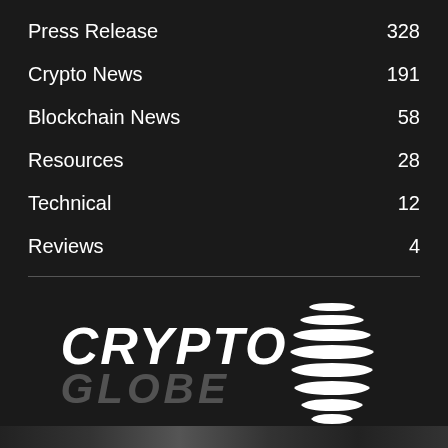Press Release 328
Crypto News 191
Blockchain News 58
Resources 28
Technical 12
Reviews 4
[Figure (logo): CryptoGlobe logo with CRYPTO text in bold italic white, GLOBE text in dark gray italic, and a white globe/sphere icon made of horizontal lines to the right]
ABOUT US